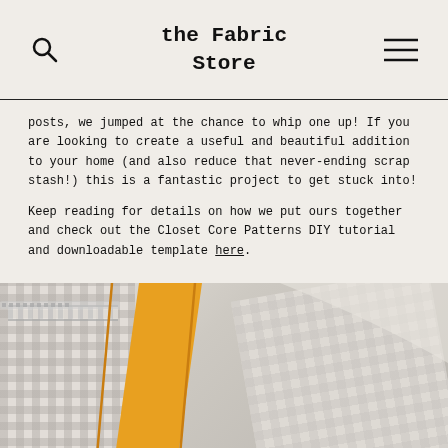the Fabric Store
posts, we jumped at the chance to whip one up! If you are looking to create a useful and beautiful addition to your home (and also reduce that never-ending scrap stash!) this is a fantastic project to get stuck into!
Keep reading for details on how we put ours together and check out the Closet Core Patterns DIY tutorial and downloadable template here.
[Figure (photo): Close-up photo of a fabric pouch/zippered bag made from gingham check fabric with an orange fabric piece and a zipper visible]